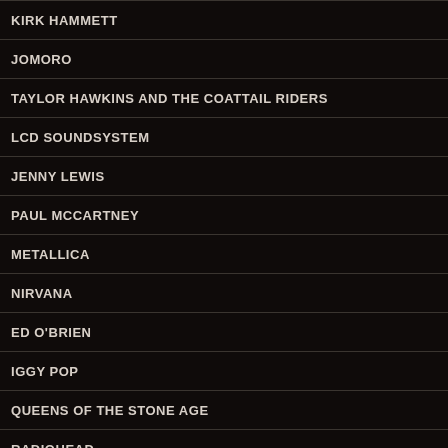KIRK HAMMETT
JOMORO
TAYLOR HAWKINS AND THE COATTAIL RIDERS
LCD SOUNDSYSTEM
JENNY LEWIS
PAUL MCCARTNEY
METALLICA
NIRVANA
ED O'BRIEN
IGGY POP
QUEENS OF THE STONE AGE
RADIOHEAD
RAMMSTEIN